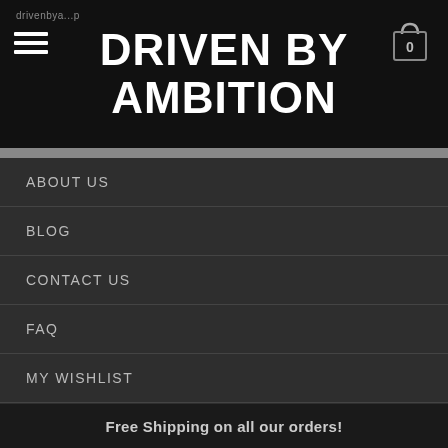DRIVEN BY AMBITION
ABOUT US
BLOG
CONTACT US
FAQ
MY WISHLIST
LEGAL
Copyright 2014 © Driven By Ambition (DXA).
Free Shipping on all our orders!